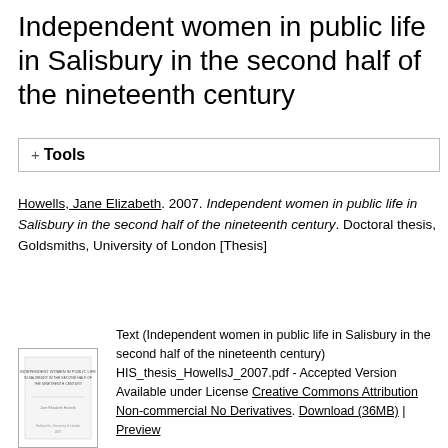Independent women in public life in Salisbury in the second half of the nineteenth century
+ Tools
Howells, Jane Elizabeth. 2007. Independent women in public life in Salisbury in the second half of the nineteenth century. Doctoral thesis, Goldsmiths, University of London [Thesis]
Text (Independent women in public life in Salisbury in the second half of the nineteenth century) HIS_thesis_HowellsJ_2007.pdf - Accepted Version Available under License Creative Commons Attribution Non-commercial No Derivatives. Download (36MB) | Preview